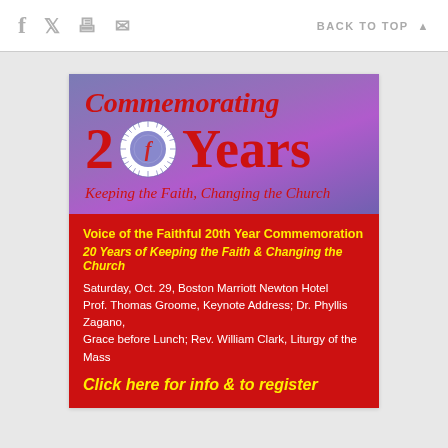f  (twitter)  (print)  (mail)   BACK TO TOP ▲
[Figure (infographic): Commemorating 20 Years — Keeping the Faith, Changing the Church. Voice of the Faithful 20th Year Commemoration flyer with purple/red gradient top and red bottom section. Contains circular logo with stylized 'f'. Bottom section details: Saturday, Oct. 29, Boston Marriott Newton Hotel; Prof. Thomas Groome, Keynote Address; Dr. Phyllis Zagano, Grace before Lunch; Rev. William Clark, Liturgy of the Mass. Click here for info & to register.]